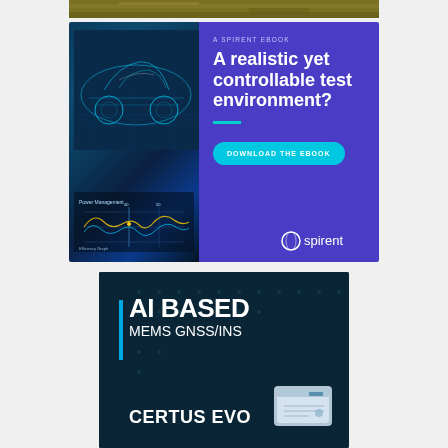[Figure (photo): Top cropped image strip showing golden/yellow textured surface]
[Figure (illustration): Spirent ebook advertisement. Left half: blue wireframe car and dashboard graph visualization on dark teal background. Right half: purple background with text 'A SPIRENT EBOOK', heading 'A realistic yet controllable test environment?', teal divider, cyan 'DOWNLOAD THE EBOOK' button, and Spirent logo at bottom right.]
[Figure (illustration): AI Based MEMS GNSS/INS advertisement on dark teal background. Blue vertical accent bar, large white bold text 'AI BASED' and 'MEMS GNSS/INS', with 'CERTUS EVO' at bottom left. Hardware device image at bottom right.]